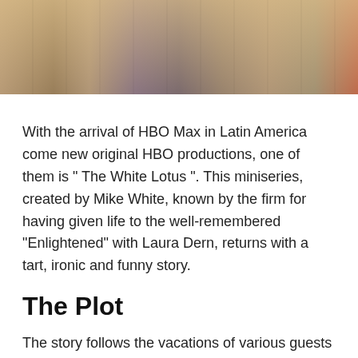[Figure (photo): Group of people outdoors, ensemble cast photo for The White Lotus TV show]
With the arrival of HBO Max in Latin America come new original HBO productions, one of them is “ The White Lotus ”. This miniseries, created by Mike White, known by the firm for having given life to the well-remembered “Enlightened” with Laura Dern, returns with a tart, ironic and funny story.
The Plot
The story follows the vacations of various guests at a paradise resort in Hawaii. while they rest and revitalize. But as each day passes, a dark complexity emerges between